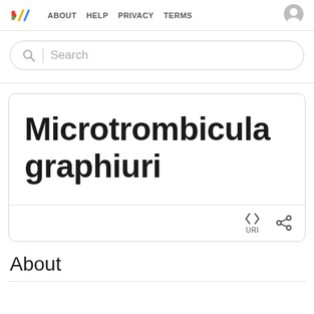ABOUT  HELP  PRIVACY  TERMS
Search
Microtrombicula graphiuri
About